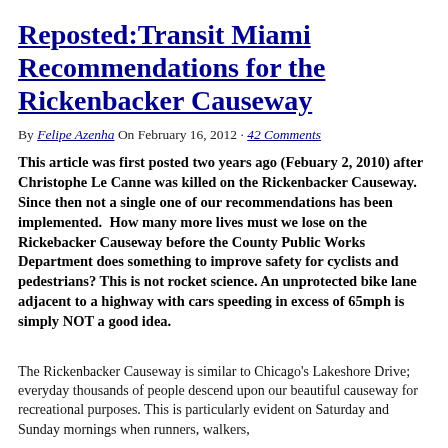Reposted:Transit Miami Recommendations for the Rickenbacker Causeway
By Felipe Azenha On February 16, 2012 · 42 Comments
This article was first posted two years ago (Febuary 2, 2010) after Christophe Le Canne was killed on the Rickenbacker Causeway. Since then not a single one of our recommendations has been implemented.  How many more lives must we lose on the Rickebacker Causeway before the County Public Works Department does something to improve safety for cyclists and pedestrians? This is not rocket science. An unprotected bike lane adjacent to a highway with cars speeding in excess of 65mph is simply NOT a good idea.
The Rickenbacker Causeway is similar to Chicago's Lakeshore Drive; everyday thousands of people descend upon our beautiful causeway for recreational purposes. This is particularly evident on Saturday and Sunday mornings when runners, walkers,